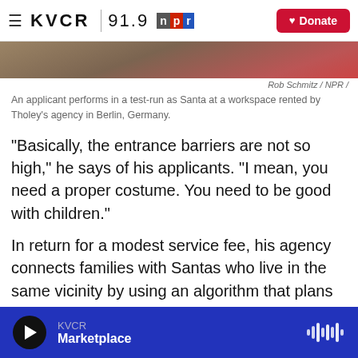KVCR 91.9 npr | Donate
[Figure (photo): Bottom portion of a photograph showing people, partially cropped]
Rob Schmitz / NPR /
An applicant performs in a test-run as Santa at a workspace rented by Tholey's agency in Berlin, Germany.
"Basically, the entrance barriers are not so high," he says of his applicants. "I mean, you need a proper costume. You need to be good with children."
In return for a modest service fee, his agency connects families with Santas who live in the same vicinity by using an algorithm that plans Santas' stops so they're never more than 20 minutes away from the last stop and so on. The algorithm
KVCR Marketplace